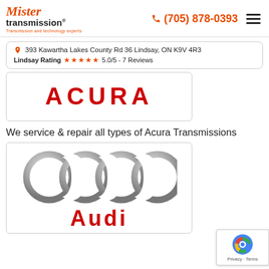Mister transmission® Transmission and technology experts | (705) 878-0393
393 Kawartha Lakes County Rd 36 Lindsay, ON K9V 4R3 | Lindsay Rating ★★★★★ 5.0/5 - 7 Reviews
[Figure (logo): Acura logo in red bold letters]
We service & repair all types of Acura Transmissions
[Figure (logo): Audi logo with four interlocking silver rings and red Audi text]